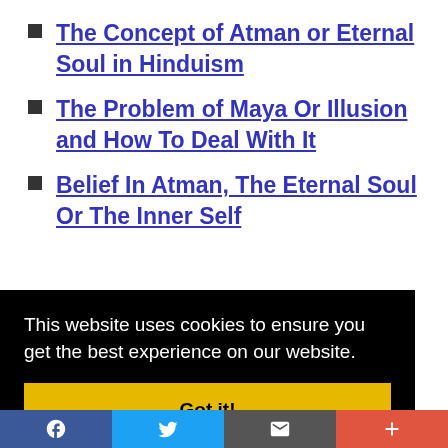The Concept of Atman or Eternal Soul in Hinduism
The Problem of Maya Or Illusion and How To Deal With It
Belief In Atman, The Eternal Soul Or The Inner Self
This website uses cookies to ensure you get the best experience on our website.
Got it!